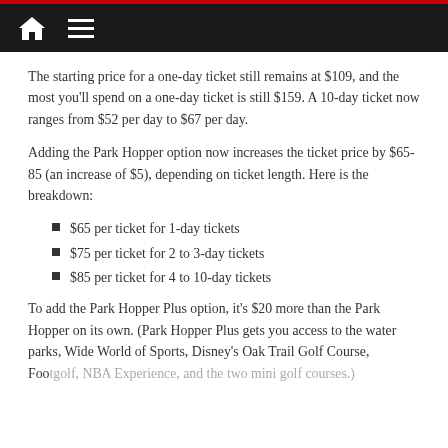Navigation bar with home and menu icons
The starting price for a one-day ticket still remains at $109, and the most you'll spend on a one-day ticket is still $159. A 10-day ticket now ranges from $52 per day to $67 per day.
Adding the Park Hopper option now increases the ticket price by $65-85 (an increase of $5), depending on ticket length. Here is the breakdown:
$65 per ticket for 1-day tickets
$75 per ticket for 2 to 3-day tickets
$85 per ticket for 4 to 10-day tickets
To add the Park Hopper Plus option, it's $20 more than the Park Hopper on its own. (Park Hopper Plus gets you access to the water parks, Wide World of Sports, Disney's Oak Trail Golf Course, Footgolf, NBA Experience, and the two mini golf courses.)